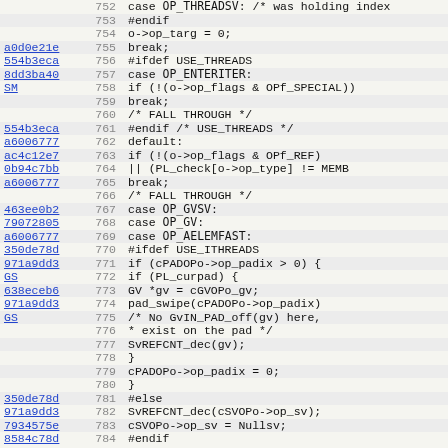[Figure (screenshot): Source code viewer showing C/Perl source lines 752-784 with commit hashes as hyperlinks in the left column, line numbers in the middle column, and code content in the right column. Background alternates between light gray and white for each row.]